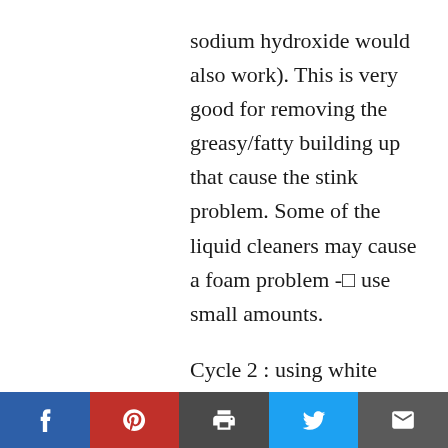sodium hydroxide would also work). This is very good for removing the greasy/fatty building up that cause the stink problem. Some of the liquid cleaners may cause a foam problem -◻ use small amounts.
Cycle 2 : using white vinegar (about a liter) and with the drum cleaning program
Cycle 3 : using Cloudy Ammonia (it
[Figure (infographic): Social sharing bar with five buttons: Facebook (blue), Pinterest (red), Print (dark gray), Twitter (light blue), Email (dark gray)]